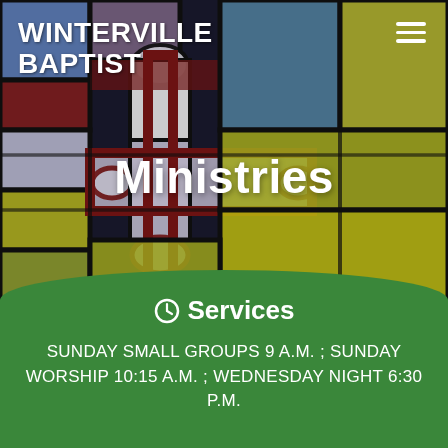[Figure (illustration): Stained glass window background with colorful blue, yellow, and red panes forming a cross pattern]
WINTERVILLE BAPTIST
Ministries
Services
SUNDAY SMALL GROUPS 9 A.M. ; SUNDAY WORSHIP 10:15 A.M. ; WEDNESDAY NIGHT 6:30 P.M.